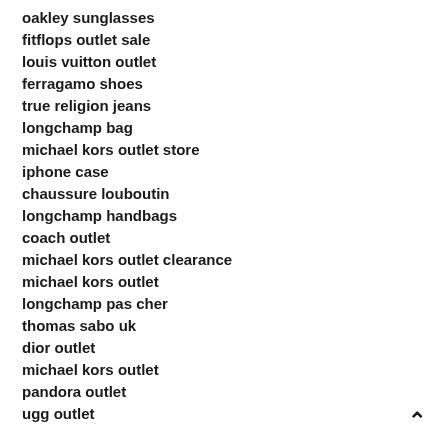oakley sunglasses
fitflops outlet sale
louis vuitton outlet
ferragamo shoes
true religion jeans
longchamp bag
michael kors outlet store
iphone case
chaussure louboutin
longchamp handbags
coach outlet
michael kors outlet clearance
michael kors outlet
longchamp pas cher
thomas sabo uk
dior outlet
michael kors outlet
pandora outlet
ugg outlet